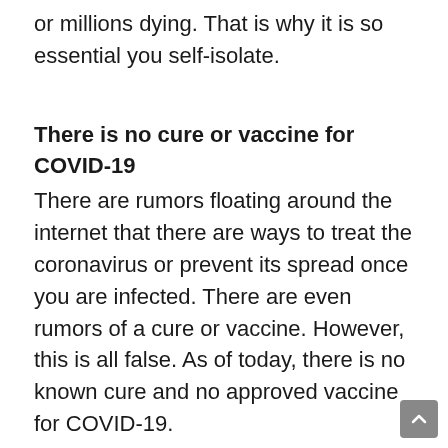or millions dying. That is why it is so essential you self-isolate.
There is no cure or vaccine for COVID-19
There are rumors floating around the internet that there are ways to treat the coronavirus or prevent its spread once you are infected. There are even rumors of a cure or vaccine. However, this is all false. As of today, there is no known cure and no approved vaccine for COVID-19.